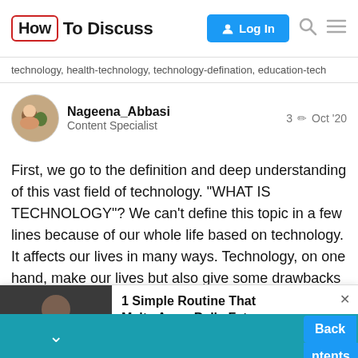[Figure (logo): HowToDiscuss navigation bar with logo, Log In button, search and menu icons]
technology, health-technology, technology-defination, education-tech
Nageena_Abbasi
Content Specialist
3  Oct '20
First, we go to the definition and deep understanding of this vast field of technology. “WHAT IS TECHNOLOGY”? We can’t define this topic in a few lines because of our whole life based on technology. It affects our lives in many ways. Technology, on one hand, make our lives but also give some drawbacks to this.
[Figure (advertisement): Ad overlay: photo of man holding bowl of food, text '1 Simple Routine That Melts Away Belly Fat', Health Gut Boost | Sponsored]